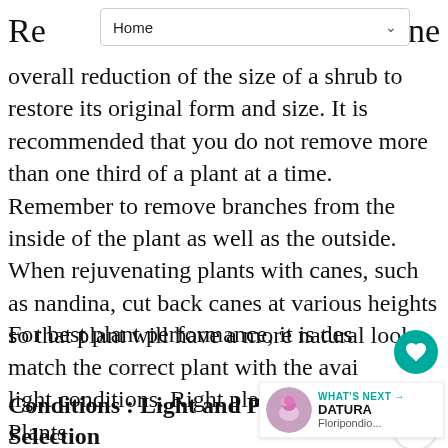Home
overall reduction of the size of a shrub to restore its original form and size. It is recommended that you do not remove more than one third of a plant at a time. Remember to remove branches from the inside of the plant as well as the outside. When rejuvenating plants with canes, such as nandina, cut back canes at various heights so that plant will have a more natural look.
Conditions : Light and Plant Selection
For best plant performance, it is des... match the correct plant with the available light conditions. Right plant, right place! Plants